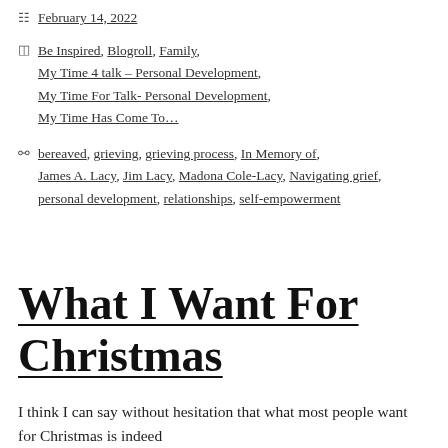February 14, 2022
Be Inspired, Blogroll, Family, My Time 4 talk – Personal Development, My Time For Talk- Personal Development, My Time Has Come To…
bereaved, grieving, grieving process, In Memory of, James A. Lacy, Jim Lacy, Madona Cole-Lacy, Navigating grief, personal development, relationships, self-empowerment
What I Want For Christmas
I think I can say without hesitation that what most people want for Christmas is indeed